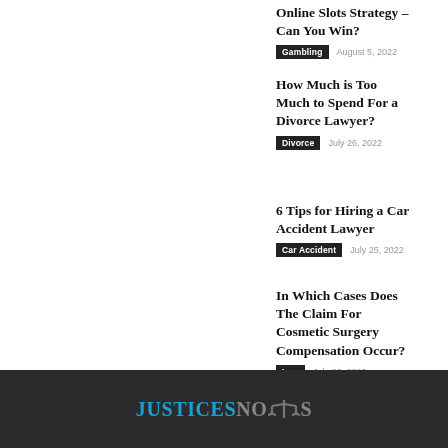Online Slots Strategy – Can You Win?
Gambling  August 5, 2022
How Much is Too Much to Spend For a Divorce Lawyer?
Divorce  July 26, 2022
6 Tips for Hiring a Car Accident Lawyer
Car Accident  July 25, 2022
In Which Cases Does The Claim For Cosmetic Surgery Compensation Occur?
Law  July 22, 2022
JusticesNotes